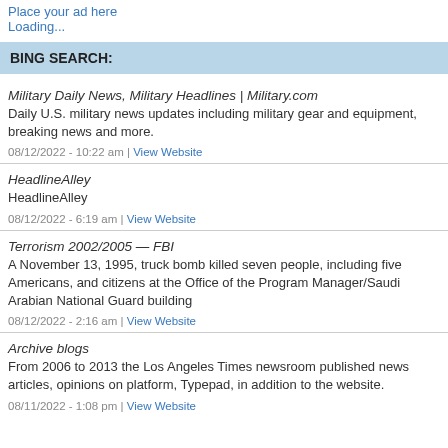Place your ad here
Loading...
BING SEARCH:
Military Daily News, Military Headlines | Military.com
Daily U.S. military news updates including military gear and equipment, breaking news and more.
08/12/2022 - 10:22 am | View Website
HeadlineAlley
HeadlineAlley
08/12/2022 - 6:19 am | View Website
Terrorism 2002/2005 — FBI
A November 13, 1995, truck bomb killed seven people, including five Americans, and citizens at the Office of the Program Manager/Saudi Arabian National Guard building
08/12/2022 - 2:16 am | View Website
Archive blogs
From 2006 to 2013 the Los Angeles Times newsroom published news articles, opinions on platform, Typepad, in addition to the website.
08/11/2022 - 1:08 pm | View Website